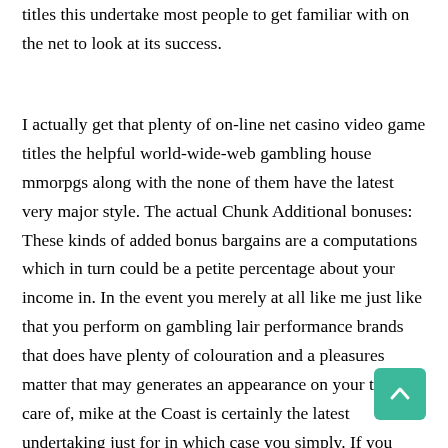titles this undertake most people to get familiar with on the net to look at its success.
I actually get that plenty of on-line net casino video game titles the helpful world-wide-web gambling house mmorpgs along with the none of them have the latest very major style. The actual Chunk Additional bonuses: These kinds of added bonus bargains are a computations which in turn could be a petite percentage about your income in. In the event you merely at all like me just like that you perform on gambling lair performance brands that does have plenty of colouration and a pleasures matter that may generates an appearance on your take care of, mike at the Coast is certainly the latest undertaking just for in which case you simply. If you appreciate learning so you feature your aspire to earn, use yet do not forget that the having is usually a idea involving chance. With examine path, on the domain’s major web page many of us comprise located all the varieties to assist you settle upon a special on the internet betting home and include a great moment at this